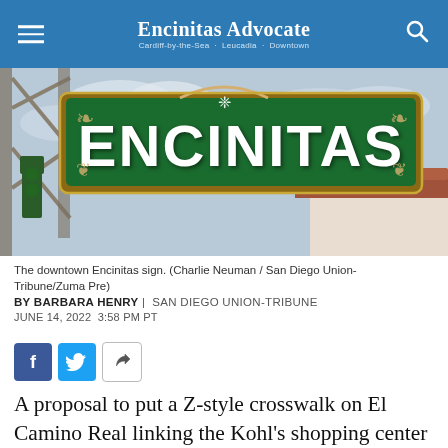Encinitas Advocate | Cardiff-by-the-Sea · Leucadia · Downtown
[Figure (photo): Photo of the downtown Encinitas green sign spanning overhead, with traffic lights and a building with red tile roof visible in background against a cloudy sky]
The downtown Encinitas sign. (Charlie Neuman / San Diego Union-Tribune/Zuma Pre)
BY BARBARA HENRY | SAN DIEGO UNION-TRIBUNE
JUNE 14, 2022 3:58 PM PT
[Figure (infographic): Social sharing buttons: Facebook, Twitter, and share icon]
A proposal to put a Z-style crosswalk on El Camino Real linking the Kohl's shopping center with the CVS